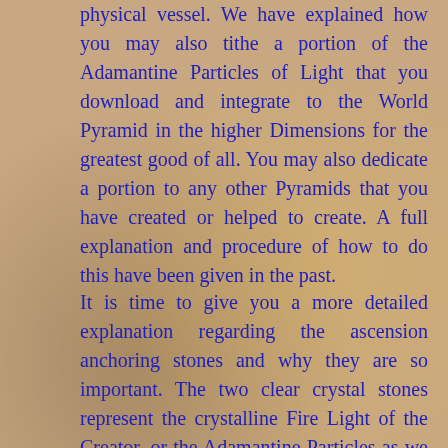physical vessel. We have explained how you may also tithe a portion of the Adamantine Particles of Light that you download and integrate to the World Pyramid in the higher Dimensions for the greatest good of all. You may also dedicate a portion to any other Pyramids that you have created or helped to create. A full explanation and procedure of how to do this have been given in the past.
It is time to give you a more detailed explanation regarding the ascension anchoring stones and why they are so important. The two clear crystal stones represent the crystalline Fire Light of the Creator, or the Adamantine Particles as we have named them for this coming era. Since it is not feasible to replace the great sentient crystal spires around the Earth, these stones will perform the same function as receivers and senders in conjunction with each of you as refined, conscious Light receptacles. The two small amethyst stones will draw forth the Violet Flame of transformation from the Seventh